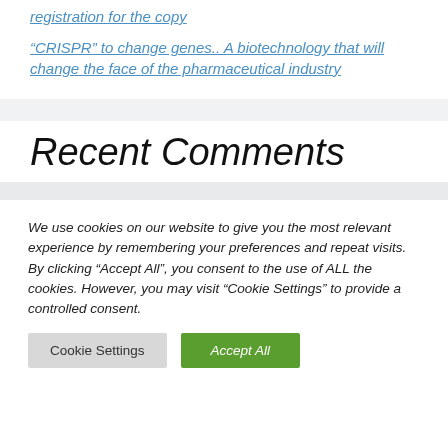registration for the copy
“CRISPR” to change genes.. A biotechnology that will change the face of the pharmaceutical industry
Recent Comments
We use cookies on our website to give you the most relevant experience by remembering your preferences and repeat visits. By clicking “Accept All”, you consent to the use of ALL the cookies. However, you may visit “Cookie Settings” to provide a controlled consent.